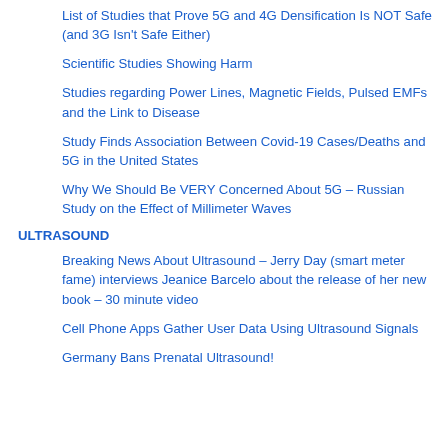List of Studies that Prove 5G and 4G Densification Is NOT Safe (and 3G Isn't Safe Either)
Scientific Studies Showing Harm
Studies regarding Power Lines, Magnetic Fields, Pulsed EMFs and the Link to Disease
Study Finds Association Between Covid-19 Cases/Deaths and 5G in the United States
Why We Should Be VERY Concerned About 5G – Russian Study on the Effect of Millimeter Waves
ULTRASOUND
Breaking News About Ultrasound – Jerry Day (smart meter fame) interviews Jeanice Barcelo about the release of her new book – 30 minute video
Cell Phone Apps Gather User Data Using Ultrasound Signals
Germany Bans Prenatal Ultrasound!